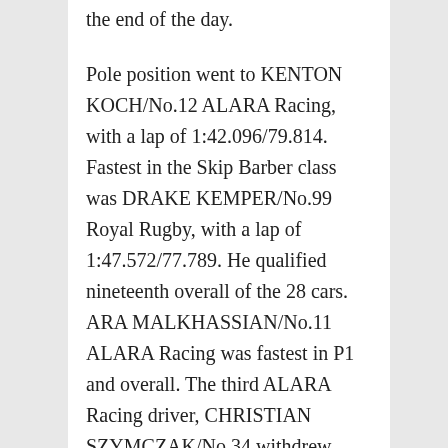the end of the day.
Pole position went to KENTON KOCH/No.12 ALARA Racing, with a lap of 1:42.096/79.814. Fastest in the Skip Barber class was DRAKE KEMPER/No.99 Royal Rugby, with a lap of 1:47.572/77.789. He qualified nineteenth overall of the 28 cars. ARA MALKHASSIAN/No.11 ALARA Racing was fastest in P1 and overall. The third ALARA Racing driver, CHRISTIAN SZYMCZAK/No.34 withdrew.
Generally the cars were faster in the 8am session than the one held at 11:30am, as the track and air warmed up. ROB FOLEY/No.93 Skip Barber Mazda MX-5 was also fastest in P1 and overall. In P2